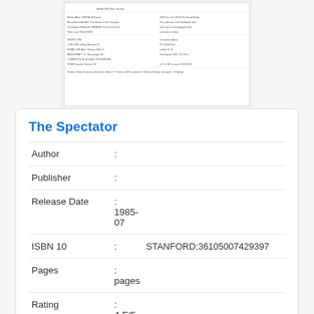[Figure (screenshot): Thumbnail of a printed page showing bibliographic or catalog data in a tabular format with small text.]
The Spectator
| Field |  | Value |
| --- | --- | --- |
| Author | : |  |
| Publisher | : |  |
| Release Date | : | 1985-07 |
| ISBN 10 | : | STANFORD:36105007429397 |
| Pages | : | pages |
| Rating | : | 4.F/5 ( users) |